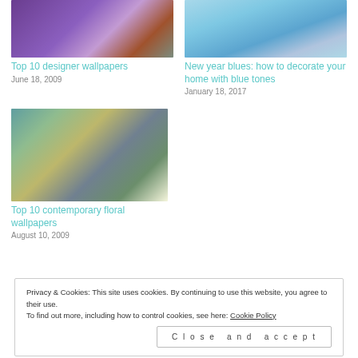[Figure (photo): Thumbnail image of designer wallpaper with purple floral/tree pattern]
Top 10 designer wallpapers
June 18, 2009
[Figure (photo): Thumbnail image of blue tone paint/color swatches fanned out]
New year blues: how to decorate your home with blue tones
January 18, 2017
[Figure (photo): Thumbnail of a living room with floral wallpaper, teal curtains, gray sofa with patterned cushions]
Top 10 contemporary floral wallpapers
August 10, 2009
Privacy & Cookies: This site uses cookies. By continuing to use this website, you agree to their use. To find out more, including how to control cookies, see here: Cookie Policy
Close and accept